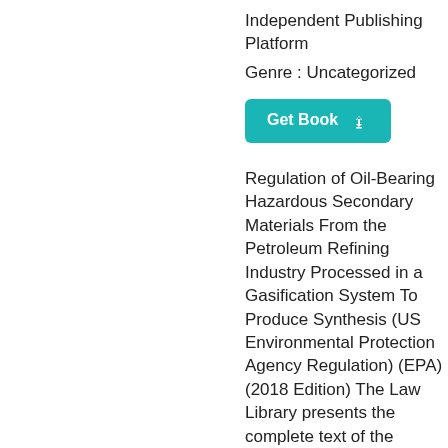Independent Publishing Platform
Genre : Uncategorized
[Figure (other): Teal 'Get Book' button with download cloud icon]
Regulation of Oil-Bearing Hazardous Secondary Materials From the Petroleum Refining Industry Processed in a Gasification System To Produce Synthesis (US Environmental Protection Agency Regulation) (EPA) (2018 Edition) The Law Library presents the complete text of the Regulation of Oil-Bearing